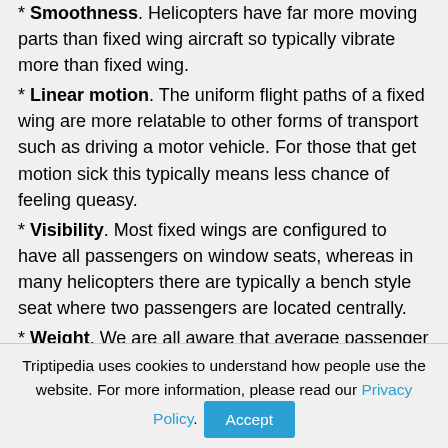* Smoothness. Helicopters have far more moving parts than fixed wing aircraft so typically vibrate more than fixed wing.
* Linear motion. The uniform flight paths of a fixed wing are more relatable to other forms of transport such as driving a motor vehicle. For those that get motion sick this typically means less chance of feeling queasy.
* Visibility. Most fixed wings are configured to have all passengers on window seats, whereas in many helicopters there are typically a bench style seat where two passengers are located centrally.
* Weight. We are all aware that average passenger weights are growing with time, in fact statistics taken from general aviation show an average weight increase from 77kg to 83kg/adult. Both fixed
Triptipedia uses cookies to understand how people use the website. For more information, please read our Privacy Policy. Accept